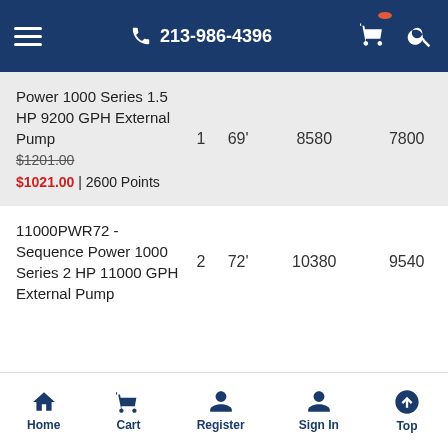213-986-4396
| Product | Col1 | Col2 | Col3 | Col4 |
| --- | --- | --- | --- | --- |
| Power 1000 Series 1.5 HP 9200 GPH External Pump
$1201.00
$1021.00 | 2600 Points | 1 | 69' | 8580 | 7800 |
| 11000PWR72 - Sequence Power 1000 Series 2 HP 11000 GPH External Pump | 2 | 72' | 10380 | 9540 |
Home | Cart | Register | Sign In | Top